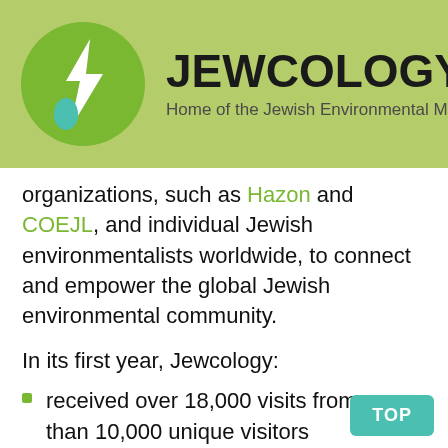[Figure (logo): Jewcology.org logo with green circle containing a lightning bolt and water drop icon, with site title JEWCOLOGY.ORG and subtitle Home of the Jewish Environmental Movement on a light green background]
organizations, such as Hazon and COEJL, and individual Jewish environmentalists worldwide, to connect and empower the global Jewish environmental community.
In its first year, Jewcology:
received over 18,000 visits from more than 10,000 unique visitors representing 101 countries;
hosted over 400 blog posts and nearly 500 ideas shared by Jewish environmental leaders and organizations;